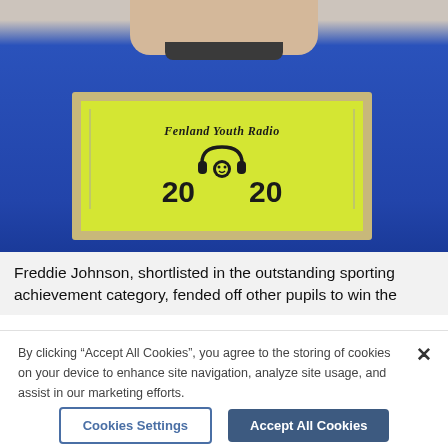[Figure (photo): A young boy wearing a blue long-sleeve shirt, holding a framed yellow-green award certificate from Fenland Youth Radio, with '20 20' printed on it and a headphone icon.]
Freddie Johnson, shortlisted in the outstanding sporting achievement category, fended off other pupils to win the
By clicking "Accept All Cookies", you agree to the storing of cookies on your device to enhance site navigation, analyze site usage, and assist in our marketing efforts.
Cookies Settings
Accept All Cookies